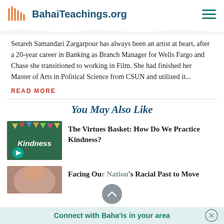BahaiTeachings.org
Setareh Samandari Zargarpour has always been an artist at heart, after a 20-year career in Banking as Branch Manager for Wells Fargo and Chase she transitioned to working in Film. She had finished her Master of Arts in Political Science from CSUN and utilized it...
READ MORE
You May Also Like
[Figure (photo): Thumbnail image showing a chalkboard with 'Kindness' written on it, decorative bunting above, and a play button overlay. Related to 'The Virtues Basket: How Do We Practice Kindness?']
The Virtues Basket: How Do We Practice Kindness?
[Figure (photo): Partial thumbnail of a face, related to article about racial past]
Facing Our Nation's Racial Past to Move
Connect with Baha'is in your area